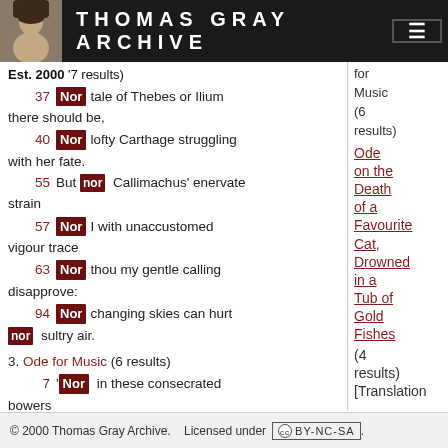THOMAS GRAY ARCHIVE
Est. 2000  '7 results)
37  Nor  tale of Thebes or Ilium there should be,
40  Nor  lofty Carthage struggling with her fate.
55  But  nor  Callimachus' enervate strain
57  Nor  I with unaccustomed vigour trace
63  Nor  thou my gentle calling disapprove:
94  Nor  changing skies can hurt  nor  sultry air.
3. Ode for Music  (6 results)
7  'Nor  in these consecrated bowers
Ode for Music (6 results)  Ode on the Death of a Favourite Cat, Drowned in a Tub of Gold Fishes (4 results)  [Translation
© 2000 Thomas Gray Archive.  Licensed under  (cc) BY-NC-SA.